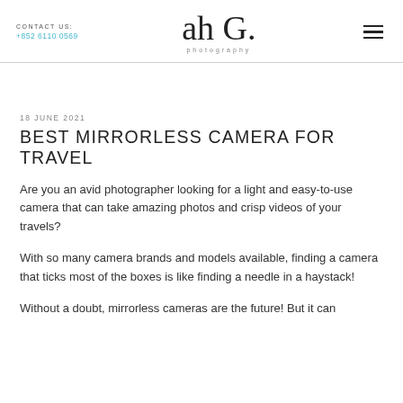CONTACT US: +852 6110 0569 | ah G. photography
18 JUNE 2021
BEST MIRRORLESS CAMERA FOR TRAVEL
Are you an avid photographer looking for a light and easy-to-use camera that can take amazing photos and crisp videos of your travels?
With so many camera brands and models available, finding a camera that ticks most of the boxes is like finding a needle in a haystack!
Without a doubt, mirrorless cameras are the future! But it can